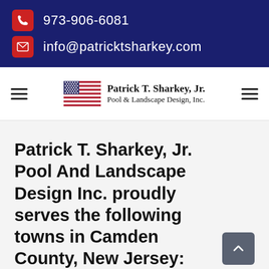973-906-6081
info@patricktsharkey.com
[Figure (logo): Patrick T. Sharkey, Jr. Pool & Landscape Design, Inc. logo with American flag]
Patrick T. Sharkey, Jr. Pool And Landscape Design Inc. proudly serves the following towns in Camden County, New Jersey: